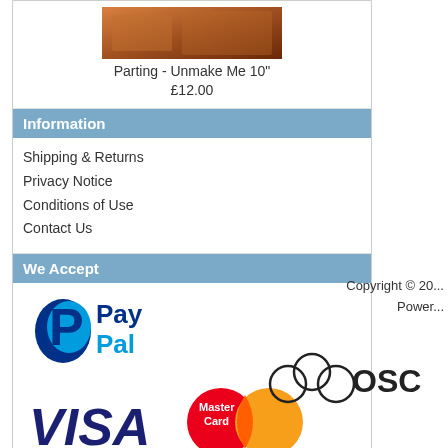[Figure (photo): Product image for Parting - Unmake Me 10 inch vinyl]
Parting - Unmake Me 10"
£12.00
Information
Shipping & Returns
Privacy Notice
Conditions of Use
Contact Us
We Accept
[Figure (logo): PayPal logo]
[Figure (logo): Visa and MasterCard logos]
[Figure (logo): American Express and Maestro logos]
Copyright © 20...
Power...
[Figure (logo): osCommerce (OSC) logo]